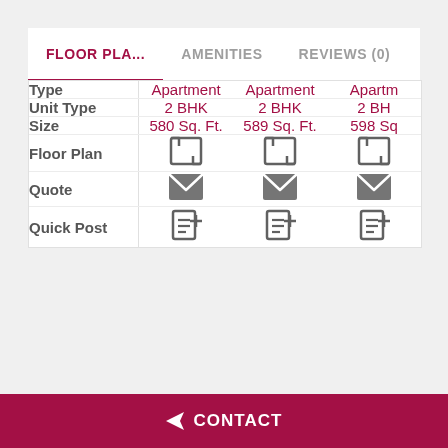FLOOR PLA...
AMENITIES
REVIEWS (0)
|  | Apartment | Apartment | Apartm... |
| --- | --- | --- | --- |
| Type | Apartment | Apartment | Apartm |
| Unit Type | 2 BHK | 2 BHK | 2 BH |
| Size | 580 Sq. Ft. | 589 Sq. Ft. | 598 Sq |
| Floor Plan | [icon] | [icon] | [icon] |
| Quote | [icon] | [icon] | [icon] |
| Quick Post | [icon] | [icon] | [icon] |
CONTACT